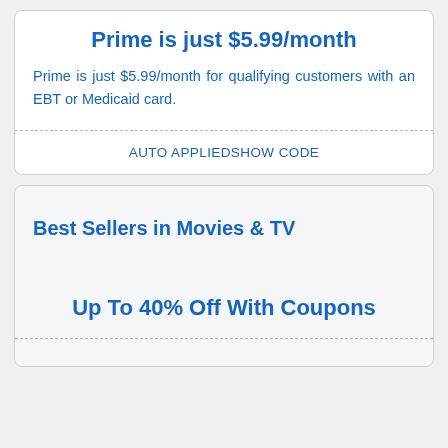Prime is just $5.99/month
Prime is just $5.99/month for qualifying customers with an EBT or Medicaid card.
AUTO APPLIEDSHOW CODE
Best Sellers in Movies & TV
Up To 40% Off With Coupons